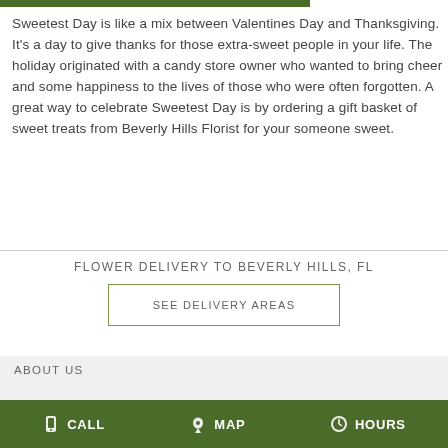[Figure (other): Green horizontal bar at top of page]
Sweetest Day is like a mix between Valentines Day and Thanksgiving. It's a day to give thanks for those extra-sweet people in your life. The holiday originated with a candy store owner who wanted to bring cheer and some happiness to the lives of those who were often forgotten. A great way to celebrate Sweetest Day is by ordering a gift basket of sweet treats from Beverly Hills Florist for your someone sweet.
FLOWER DELIVERY TO BEVERLY HILLS, FL
SEE DELIVERY AREAS
ABOUT US
CALL  MAP  HOURS